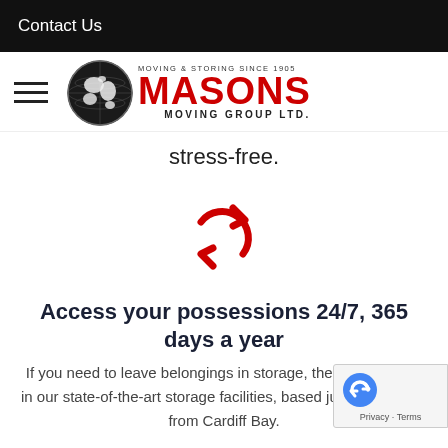Contact Us
[Figure (logo): Masons Moving Group Ltd. logo with globe icon and red MASONS text, tagline MOVING & STORING SINCE 1905]
stress-free.
[Figure (illustration): Red circular refresh/sync icon with two curved arrows]
Access your possessions 24/7, 365 days a year
If you need to leave belongings in storage, then they're safe in our state-of-the-art storage facilities, based just 10 minutes from Cardiff Bay.